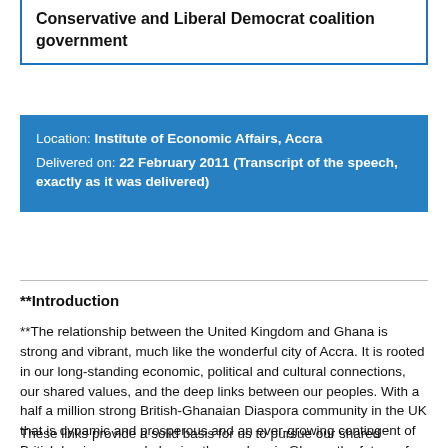Conservative and Liberal Democrat coalition government
Location: Institute of Economic Affairs, Accra
Delivered on: 22 February 2011 (Transcript of the speech, exactly as it was delivered)
**Introduction
**The relationship between the United Kingdom and Ghana is strong and vibrant, much like the wonderful city of Accra. It is rooted in our long-standing economic, political and cultural connections, our shared values, and the deep links between our peoples. With a half a million strong British-Ghanaian Diaspora community in the UK that is dynamic and prosperous and an ever-growing contingent of British businesspeople basing themselves in Ghana, the future of this relationship is being built on firm foundations.
These links provide a solid basis for us to pursue our shared